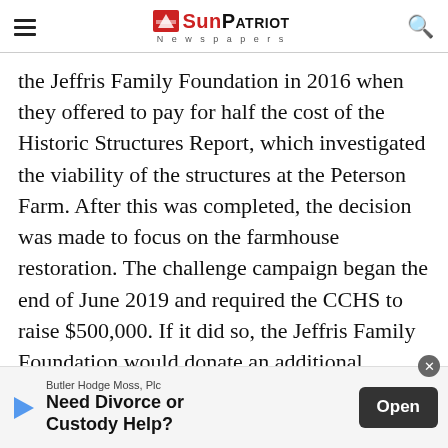SunPatriot Newspapers
the Jeffris Family Foundation in 2016 when they offered to pay for half the cost of the Historic Structures Report, which investigated the viability of the structures at the Peterson Farm. After this was completed, the decision was made to focus on the farmhouse restoration. The challenge campaign began the end of June 2019 and required the CCHS to raise $500,000. If it did so, the Jeffris Family Foundation would donate an additional $250,000 to complete the estimated restoration amount needed. The
Butler Hodge Moss, Plc
Need Divorce or Custody Help?
Open